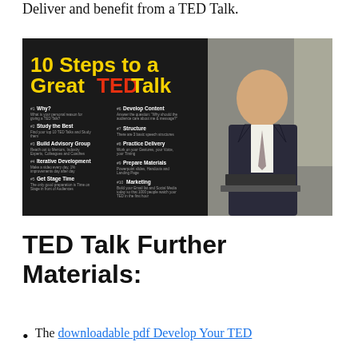Deliver and benefit from a TED Talk.
[Figure (infographic): Infographic titled '10 Steps to a Great TED Talk' on a dark background with yellow and white text listing steps: #1 Why?, #2 Study the Best, #3 Build Advisory Group, #4 Iterative Development, #5 Get Stage Time, #6 Develop Content, #7 Structure, #8 Practice Delivery, #9 Prepare Materials, #10 Marketing. Right half shows a photo of a bald man in a dark suit seated at a table.]
TED Talk Further Materials:
The downloadable pdf Develop Your TED